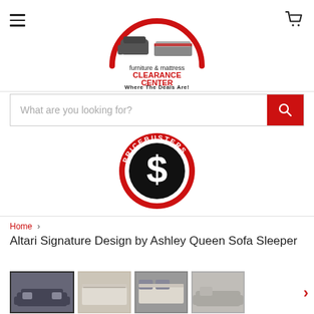[Figure (logo): Furniture & Mattress Clearance Center logo with red semicircle arch over sofa and mattress icons, text: furniture & mattress CLEARANCE CENTER Where The Deals Are!]
[Figure (logo): PRICEBUSTERS circular logo - red ring with black circle containing white dollar sign S graphic]
What are you looking for?
Home > Altari Signature Design by Ashley Queen Sofa Sleeper
Altari Signature Design by Ashley Queen Sofa Sleeper
[Figure (photo): Four product thumbnail photos of the Altari sofa sleeper: dark charcoal sofa (selected/highlighted), cream/beige sofa open as sleeper, dark sofa open as sleeper, light gray sofa]